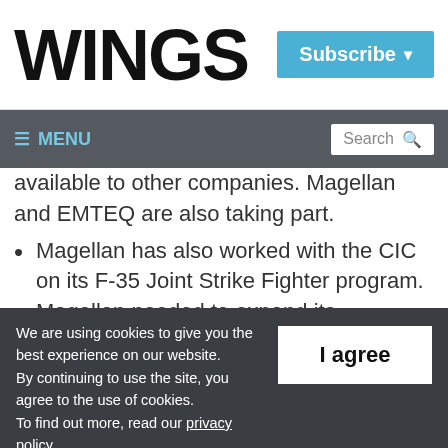WINGS | Subscribe
≡ MENU | Search
available to other companies. Magellan and EMTEQ are also taking part.
Magellan has also worked with the CIC on its F-35 Joint Strike Fighter program. Magellan needed to expand its composite capabilities, and CIC worked with the
We are using cookies to give you the best experience on our website. By continuing to use the site, you agree to the use of cookies. To find out more, read our privacy policy.